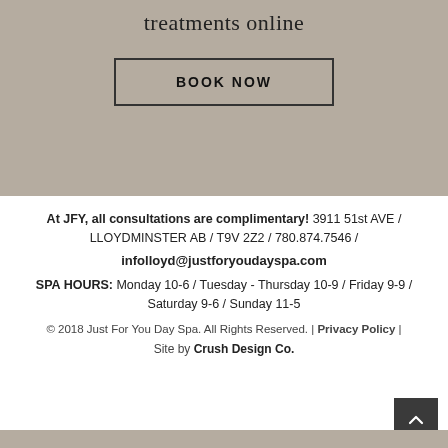treatments online
BOOK NOW
At JFY, all consultations are complimentary! 3911 51st AVE / LLOYDMINSTER AB / T9V 2Z2 / 780.874.7546 /
infolloyd@justforyoudayspa.com
SPA HOURS: Monday 10-6 / Tuesday - Thursday 10-9 / Friday 9-9 / Saturday 9-6 / Sunday 11-5
© 2018 Just For You Day Spa. All Rights Reserved. | Privacy Policy | Site by Crush Design Co.